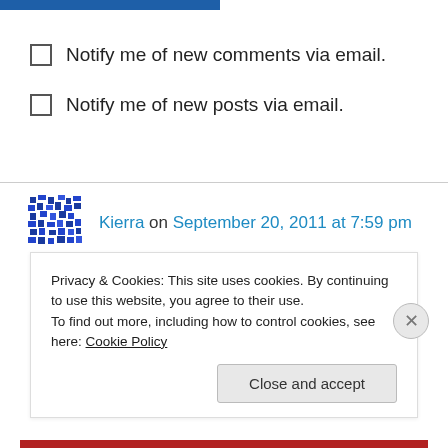Notify me of new comments via email.
Notify me of new posts via email.
Kierra on September 20, 2011 at 7:59 pm
With the bases loaded you struck us out with that aenswr!
Like
1   0   Rate This
Privacy & Cookies: This site uses cookies. By continuing to use this website, you agree to their use. To find out more, including how to control cookies, see here: Cookie Policy
Close and accept